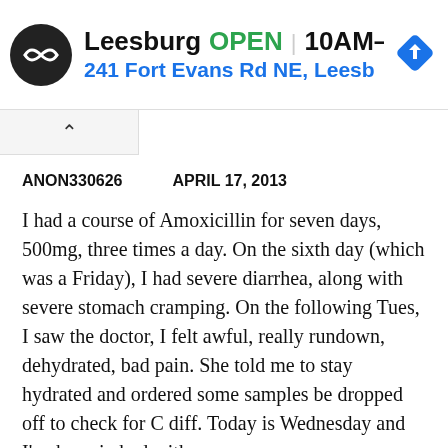[Figure (screenshot): Advertisement banner for a pharmacy or store in Leesburg. Shows a circular black logo with a double-arrow symbol, text reading 'Leesburg OPEN 10AM–7PM' and '241 Fort Evans Rd NE, Leesb', and a blue navigation diamond icon.]
ANON330626   APRIL 17, 2013
I had a course of Amoxicillin for seven days, 500mg, three times a day. On the sixth day (which was a Friday), I had severe diarrhea, along with severe stomach cramping. On the following Tues, I saw the doctor, I felt awful, really rundown, dehydrated, bad pain. She told me to stay hydrated and ordered some samples be dropped off to check for C diff. Today is Wednesday and I've been in bed with severe